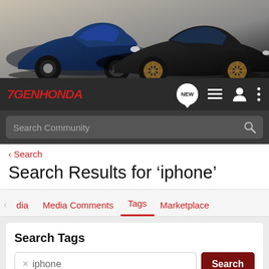[Figure (photo): Banner image of two cars — a dark blue and a black sports car — against a light background.]
7GENHONDA — navigation bar with NEW chat icon, list icon, user icon, and menu dots
Search Community
< Search
Search Results for 'iphone'
dia   Media Comments   Tags   Marketplace
Search Tags
× iphone   Search